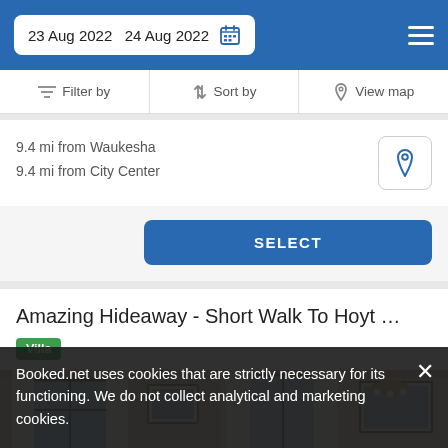23 Aug 2022  24 Aug 2022
Filter by  Sort by  View map
9.4 mi from Waukesha
9.4 mi from City Center
SELECT
Amazing Hideaway - Short Walk To Hoyt …
Villa
[Figure (photo): Interior room of a villa with white curtains, windows, framed pictures, and a chandelier]
Booked.net uses cookies that are strictly necessary for its functioning. We do not collect analytical and marketing cookies.